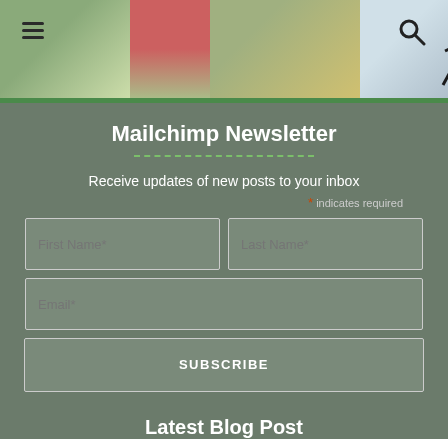[Figure (screenshot): Website header banner with navigation icons (hamburger menu, search icon) and collage of photos]
Mailchimp Newsletter
Receive updates of new posts to your inbox
* indicates required
First Name*
Last Name*
Email*
SUBSCRIBE
Latest Blog Post